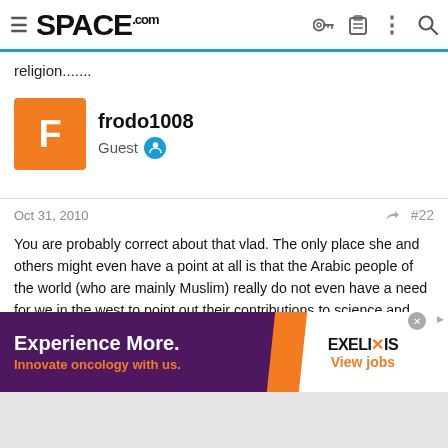SPACE.com
religion.......
frodo1008
Guest
Oct 31, 2010  #22
You are probably correct about that vlad. The only place she and others might even have a point at all is that the Arabic people of the world (who are mainly Muslim) really do not even have a need for we in the west to point out their contributions to science and math at all. Those contributions can easily stand on their own merit anyway.
[Figure (infographic): Advertisement banner: 'Experience More. Innovate oncology with us.' with EXELIXIS logo and 'View jobs' link]